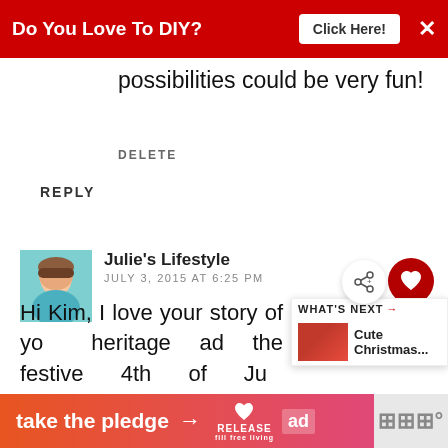[Figure (screenshot): Red advertisement banner reading 'Do You Love To DIY?' with a 'Click Here!' button and an X close button]
possibilities could be very fun!
DELETE
REPLY
[Figure (photo): Profile photo of Julie's Lifestyle commenter — woman in blue top]
Julie's Lifestyle
JULY 3, 2015 AT 6:25 PM
Hi Kim, I love your story of your heritage ad the festive 4th of July crackers! Enjoy the 4th of July the weekend!
REPLY  DELETE
[Figure (screenshot): Bottom orange 'take the pledge' advertisement banner with RELEASE branding]